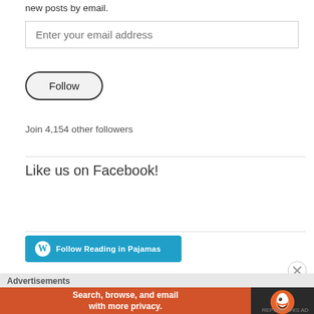new posts by email.
Enter your email address
Follow
Join 4,154 other followers
Like us on Facebook!
[Figure (screenshot): WordPress Follow button with 'Follow Reading in Pajamas' text on teal/blue background]
[Figure (screenshot): Close/X circle button]
Advertisements
[Figure (screenshot): DuckDuckGo advertisement banner: 'Search, browse, and email with more privacy. All in One Free App' with DuckDuckGo logo on dark background]